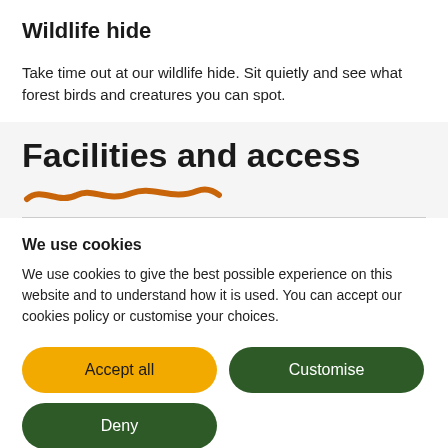Wildlife hide
Take time out at our wildlife hide. Sit quietly and see what forest birds and creatures you can spot.
Facilities and access
[Figure (illustration): Orange squiggly underline decoration beneath 'Facilities and access' heading]
We use cookies
We use cookies to give the best possible experience on this website and to understand how it is used. You can accept our cookies policy or customise your choices.
Accept all
Customise
Deny